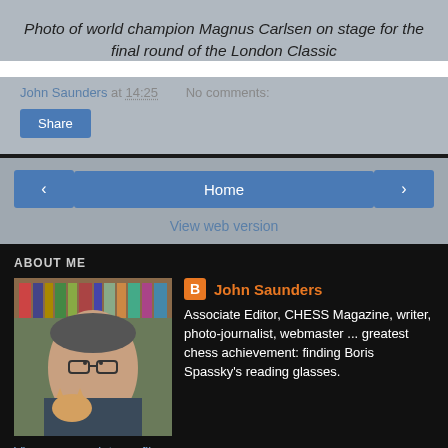Photo of world champion Magnus Carlsen on stage for the final round of the London Classic
John Saunders at 14:25   No comments:
Share
< Home >
View web version
ABOUT ME
[Figure (photo): Profile photo of John Saunders, a man with glasses holding a cat, with bookshelves in the background]
John Saunders
Associate Editor, CHESS Magazine, writer, photo-journalist, webmaster ... greatest chess achievement: finding Boris Spassky's reading glasses.
View my complete profile
Powered by Blogger.